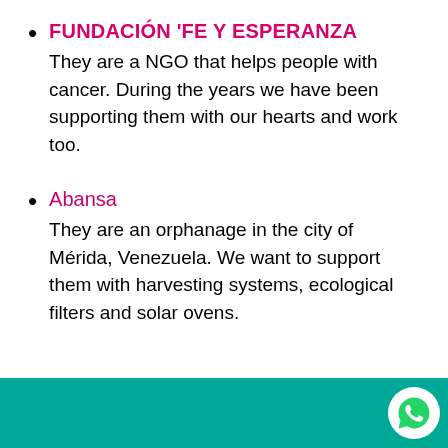FUNDACIÓN 'FE Y ESPERANZA
They are a NGO that helps people with cancer. During the years we have been supporting them with our hearts and work too.
Abansa
They are an orphanage in the city of Mérida, Venezuela. We want to support them with harvesting systems, ecological filters and solar ovens.
[Figure (illustration): Teal/green footer bar with a WhatsApp icon (white speech bubble with phone handset) on the right side.]